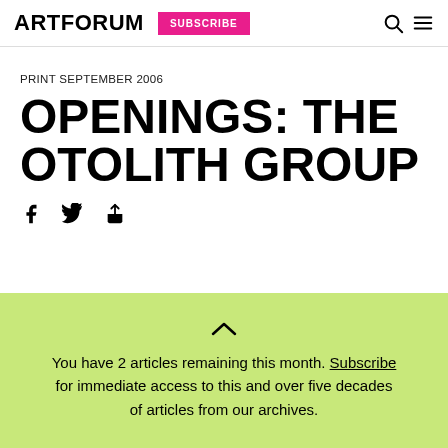ARTFORUM | SUBSCRIBE
PRINT SEPTEMBER 2006
OPENINGS: THE OTOLITH GROUP
You have 2 articles remaining this month. Subscribe for immediate access to this and over five decades of articles from our archives.